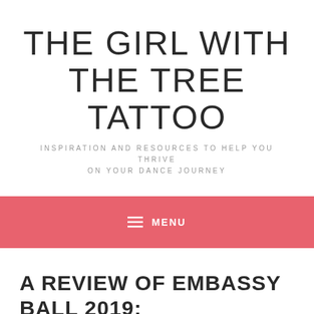THE GIRL WITH THE TREE TATTOO
INSPIRATION AND RESOURCES TO HELP YOU THRIVE ON YOUR DANCE JOURNEY
MENU
A REVIEW OF EMBASSY BALL 2019: BACK TO THE BEGINNING